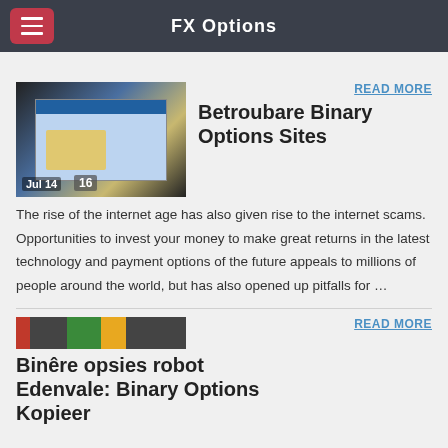FX Options
[Figure (screenshot): Screenshot of a binary options trading website with chart and figures, dated Jul 14, showing number 16]
READ MORE
Betroubare Binary Options Sites
The rise of the internet age has also given rise to the internet scams. Opportunities to invest your money to make great returns in the latest technology and payment options of the future appeals to millions of people around the world, but has also opened up pitfalls for …
[Figure (screenshot): Screenshot of a binary options robot interface with colorful toolbar]
READ MORE
Binêre opsies robot Edenvale: Binary Options Kopieer